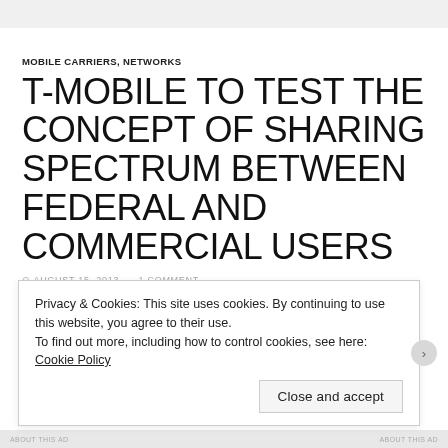MOBILE CARRIERS, NETWORKS
T-MOBILE TO TEST THE CONCEPT OF SHARING SPECTRUM BETWEEN FEDERAL AND COMMERCIAL USERS
AUGUST 15, 2013   1 COMMENT
Privacy & Cookies: This site uses cookies. By continuing to use this website, you agree to their use.
To find out more, including how to control cookies, see here: Cookie Policy
Close and accept